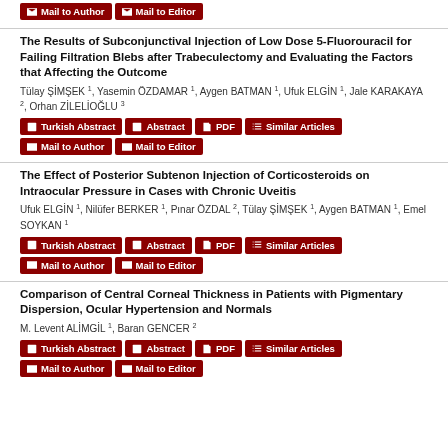Mail to Author | Mail to Editor (top buttons)
The Results of Subconjunctival Injection of Low Dose 5-Fluorouracil for Failing Filtration Blebs after Trabeculectomy and Evaluating the Factors that Affecting the Outcome
Tülay ŞİMŞEK 1, Yasemin ÖZDAMAR 1, Aygen BATMAN 1, Ufuk ELGİN 1, Jale KARAKAYA 2, Orhan ZİLELİOĞLU 3
Turkish Abstract | Abstract | PDF | Similar Articles | Mail to Author | Mail to Editor
The Effect of Posterior Subtenon Injection of Corticosteroids on Intraocular Pressure in Cases with Chronic Uveitis
Ufuk ELGİN 1, Nilüfer BERKER 1, Pınar ÖZDAL 2, Tülay ŞİMŞEK 1, Aygen BATMAN 1, Emel SOYKAN 1
Turkish Abstract | Abstract | PDF | Similar Articles | Mail to Author | Mail to Editor
Comparison of Central Corneal Thickness in Patients with Pigmentary Dispersion, Ocular Hypertension and Normals
M. Levent ALİMGİL 1, Baran GENCER 2
Turkish Abstract | Abstract | PDF | Similar Articles | Mail to Author | Mail to Editor